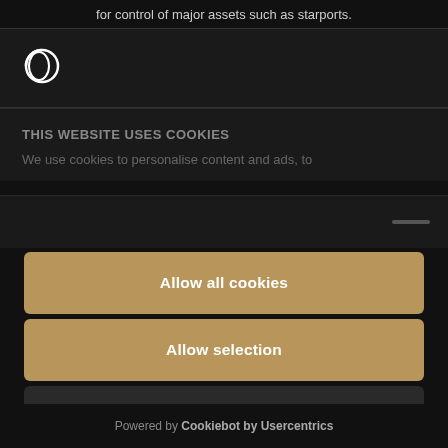for control of major assets such as starports.
[Figure (logo): Circular logo icon, white outline circle with partial fill, on dark background]
THIS WEBSITE USES COOKIES
We use cookies to personalise content and ads, to
Allow all cookies
Allow selection
Deny
Powered by Cookiebot by Usercentrics